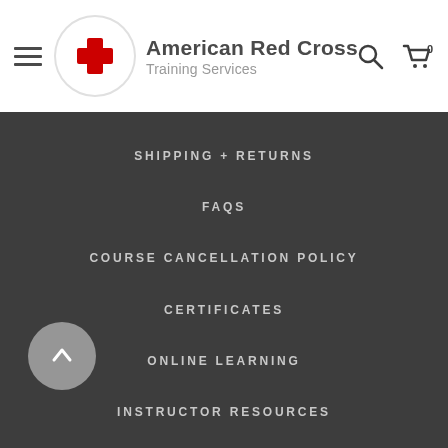American Red Cross Training Services
SHIPPING + RETURNS
FAQS
COURSE CANCELLATION POLICY
CERTIFICATES
ONLINE LEARNING
INSTRUCTOR RESOURCES